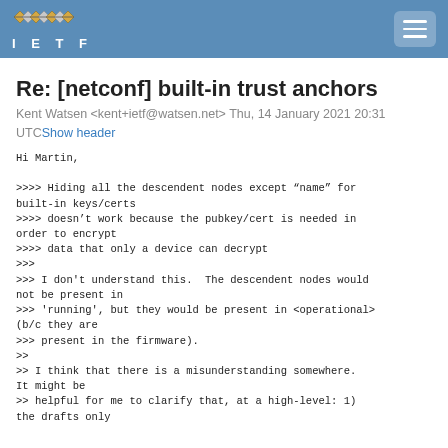IETF
Re: [netconf] built-in trust anchors
Kent Watsen <kent+ietf@watsen.net> Thu, 14 January 2021 20:31 UTCShow header
Hi Martin,

>>>> Hiding all the descendent nodes except “name” for built-in keys/certs
>>>> doesn’t work because the pubkey/cert is needed in order to encrypt
>>>> data that only a device can decrypt
>>>
>>> I don't understand this.  The descendent nodes would not be present in
>>> 'running', but they would be present in <operational> (b/c they are
>>> present in the firmware).
>>
>> I think that there is a misunderstanding somewhere. It might be
>> helpful for me to clarify that, at a high-level: 1)
the drafts only